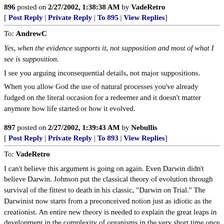896 posted on 2/27/2002, 1:38:38 AM by VadeRetro
[ Post Reply | Private Reply | To 895 | View Replies]
To: AndrewC
Yes, when the evidence supports it, not supposition and most of what I see is supposition.
I see you arguing inconsequential details, not major suppositions.
When you allow God the use of natural processes you've already fudged on the literal occasion for a redeemer and it doesn't matter anymore how life started or how it evolved.
897 posted on 2/27/2002, 1:39:43 AM by Nebullis
[ Post Reply | Private Reply | To 893 | View Replies]
To: VadeRetro
I can't believe this argument is going on again. Even Darwin didn't believe Darwin. Johnson put the classical theory of evolution through survival of the fittest to death in his classic, "Darwin on Trial." The Darwinist now starts from a preconceived notion just as idiotic as the creationist. An entire new theory is needed to explain the great leaps in development in the complexity of organisms in the very short time once life appeared. As for creationists, they cannot even read the Bible correctly, which clearly states that God